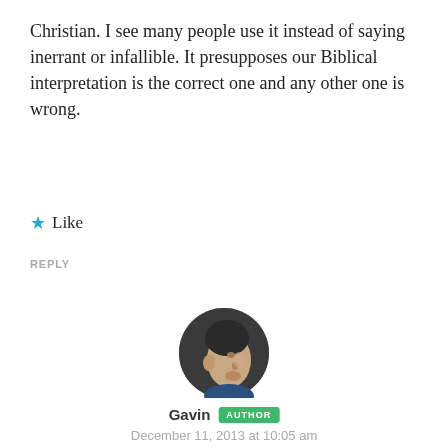Christian. I see many people use it instead of saying inerrant or infallible. It presupposes our Biblical interpretation is the correct one and any other one is wrong.
★ Like
REPLY
[Figure (photo): Circular profile photo of Gavin, a man in profile view]
Gavin AUTHOR
December 11, 2013 at 10:05 am
Hi Eric.
1. Many. I think the first of your three alternatives is closest, but I would see the core of classic liberalism as the reinterpretation of Christianity within a non-